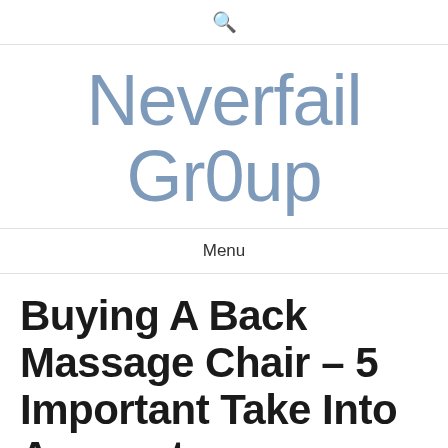🔍
Neverfail Gr0up
Menu
Buying A Back Massage Chair – 5 Important Take Into Account